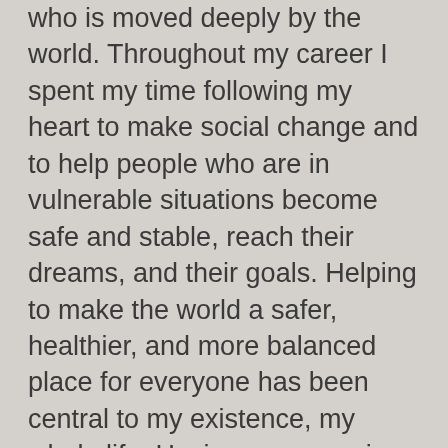who is moved deeply by the world. Throughout my career I spent my time following my heart to make social change and to help people who are in vulnerable situations become safe and stable, reach their dreams, and their goals. Helping to make the world a safer, healthier, and more balanced place for everyone has been central to my existence, my whole life. Having grown up in poverty, I know how limiting and excluding it can be. Having grown up with a single parent living with mental illness, I know what stress and trauma looks like, as a kid who doesn't know necessarily what's going to happen next. In that work, my hands held hands, gave reassuring touch, wrote funding proposals, and developed